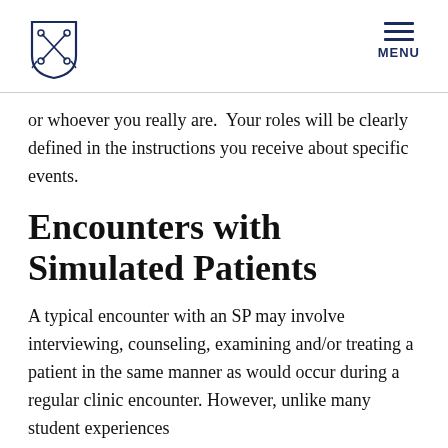[Logo] MENU
or whoever you really are.  Your roles will be clearly defined in the instructions you receive about specific events.
Encounters with Simulated Patients
A typical encounter with an SP may involve interviewing, counseling, examining and/or treating a patient in the same manner as would occur during a regular clinic encounter. However, unlike many student experiences